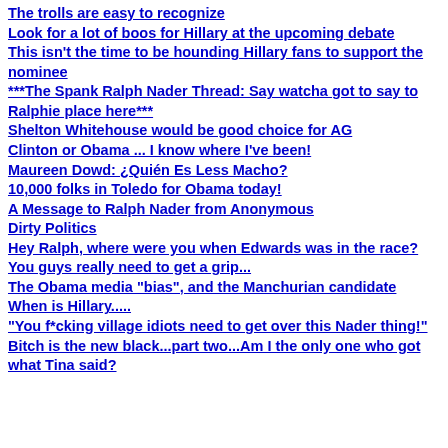The trolls are easy to recognize
Look for a lot of boos for Hillary at the upcoming debate
This isn't the time to be hounding Hillary fans to support the nominee
***The Spank Ralph Nader Thread: Say watcha got to say to Ralphie place here***
Shelton Whitehouse would be good choice for AG
Clinton or Obama ... I know where I've been!
Maureen Dowd: ¿Quién Es Less Macho?
10,000 folks in Toledo for Obama today!
A Message to Ralph Nader from Anonymous
Dirty Politics
Hey Ralph, where were you when Edwards was in the race?
You guys really need to get a grip...
The Obama media "bias", and the Manchurian candidate
When is Hillary.....
"You f*cking village idiots need to get over this Nader thing!"
Bitch is the new black...part two...Am I the only one who got what Tina said?